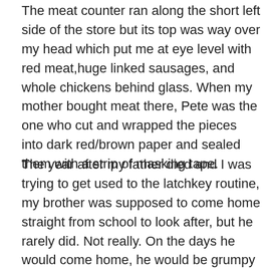The meat counter ran along the short left side of the store but its top was way over my head which put me at eye level with red meat,huge linked sausages, and whole chickens behind glass. When my mother bought meat there, Pete was the one who cut and wrapped the pieces into dark red/brown paper and sealed them with a strip of masking tape.
The year after my father died and I was trying to get used to the latchkey routine, my brother was supposed to come home straight from school to look after, but he rarely did. Not really. On the days he would come home, he would be grumpy and plop in front of our old Philco black and white TV (my mother still had that TV when we moved her out 44 years later). Somehow, he seemed to always have a little money and he would “send” (command?) me to run up the street to Pete’s to buy his favorite snack: a bag of